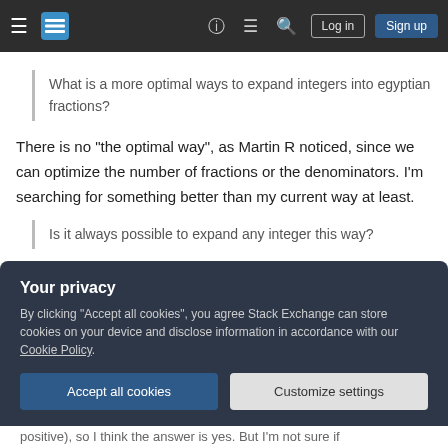Stack Exchange navigation bar with Log in and Sign up buttons
What is a more optimal ways to expand integers into egyptian fractions?
There is no "the optimal way", as Martin R noticed, since we can optimize the number of fractions or the denominators. I'm searching for something better than my current way at least.
Is it always possible to expand any integer this way?
Your privacy
By clicking "Accept all cookies", you agree Stack Exchange can store cookies on your device and disclose information in accordance with our Cookie Policy.
positive), so I think the answer is yes. But I'm not sure if